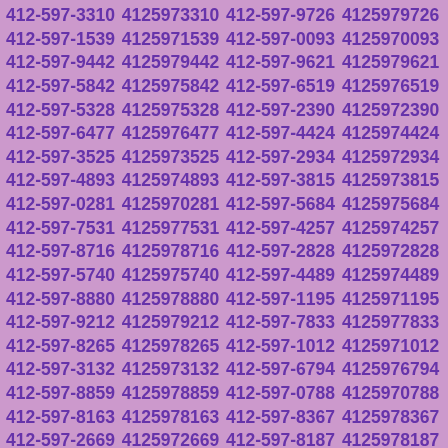412-597-3310 4125973310 412-597-9726 4125979726 412-597-1539 4125971539 412-597-0093 4125970093 412-597-9442 4125979442 412-597-9621 4125979621 412-597-5842 4125975842 412-597-6519 4125976519 412-597-5328 4125975328 412-597-2390 4125972390 412-597-6477 4125976477 412-597-4424 4125974424 412-597-3525 4125973525 412-597-2934 4125972934 412-597-4893 4125974893 412-597-3815 4125973815 412-597-0281 4125970281 412-597-5684 4125975684 412-597-7531 4125977531 412-597-4257 4125974257 412-597-8716 4125978716 412-597-2828 4125972828 412-597-5740 4125975740 412-597-4489 4125974489 412-597-8880 4125978880 412-597-1195 4125971195 412-597-9212 4125979212 412-597-7833 4125977833 412-597-8265 4125978265 412-597-1012 4125971012 412-597-3132 4125973132 412-597-6794 4125976794 412-597-8859 4125978859 412-597-0788 4125970788 412-597-8163 4125978163 412-597-8367 4125978367 412-597-2669 4125972669 412-597-8187 4125978187 412-597-7403 4125977403 412-597-1300 4125971300 412-597-6334 4125976334 412-597-3228 4125973228